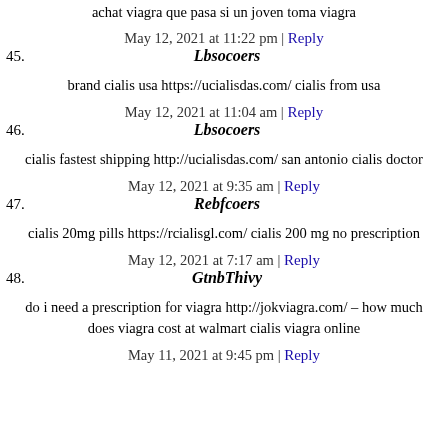achat viagra que pasa si un joven toma viagra
May 12, 2021 at 11:22 pm | Reply
45. Lbsocoers
brand cialis usa https://ucialisdas.com/ cialis from usa
May 12, 2021 at 11:04 am | Reply
46. Lbsocoers
cialis fastest shipping http://ucialisdas.com/ san antonio cialis doctor
May 12, 2021 at 9:35 am | Reply
47. Rebfcoers
cialis 20mg pills https://rcialisgl.com/ cialis 200 mg no prescription
May 12, 2021 at 7:17 am | Reply
48. GtnbThivy
do i need a prescription for viagra http://jokviagra.com/ – how much does viagra cost at walmart cialis viagra online
May 11, 2021 at 9:45 pm | Reply